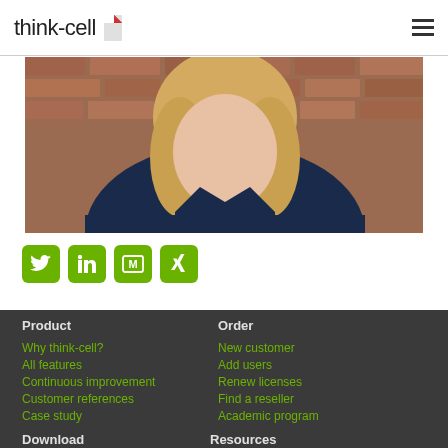think-cell
[Figure (photo): Portrait photo of a blonde woman wearing a dark navy shirt, standing against a red brick wall background, arms crossed]
[Figure (infographic): Row of four green social media icon buttons: Twitter (bird), LinkedIn (in), Medium (M), XING (X)]
Product
Why think-cell?
All features
Continuous improvement
Customer references
Case study
Order
New customer
Add users
Renew licenses
Find a reseller
Academic program
Download
Resources